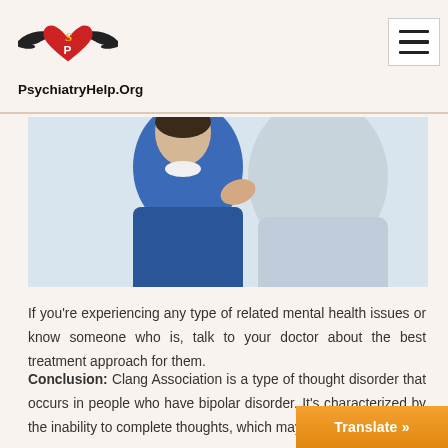PsychiatryHelp.Org
[Figure (photo): A person in a blue sweater, appears to be in a thoughtful or concerned pose, photographed from the torso up against a light background.]
If you're experiencing any type of related mental health issues or know someone who is, talk to your doctor about the best treatment approach for them.
Conclusion: Clang Association is a type of thought disorder that occurs in people who have bipolar disorder. It's characterized by the inability to complete thoughts, which may be